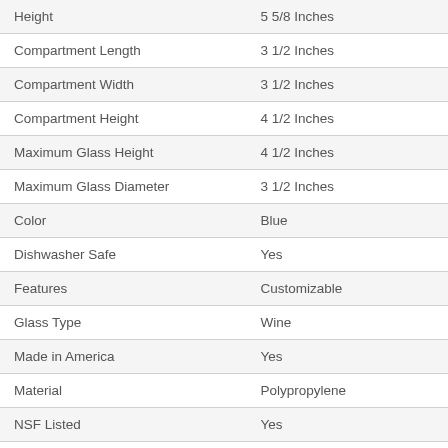| Attribute | Value |
| --- | --- |
| Height | 5 5/8 Inches |
| Compartment Length | 3 1/2 Inches |
| Compartment Width | 3 1/2 Inches |
| Compartment Height | 4 1/2 Inches |
| Maximum Glass Height | 4 1/2 Inches |
| Maximum Glass Diameter | 3 1/2 Inches |
| Color | Blue |
| Dishwasher Safe | Yes |
| Features | Customizable |
| Glass Type | Wine |
| Made in America | Yes |
| Material | Polypropylene |
| NSF Listed | Yes |
| Number of Compartments | 25 Compartments |
| Number of Extenders | Base Racks |